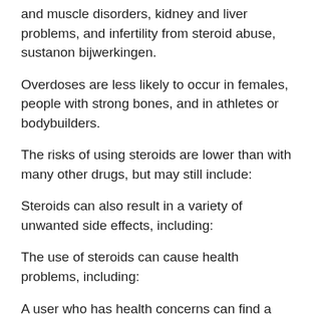and muscle disorders, kidney and liver problems, and infertility from steroid abuse, sustanon bijwerkingen.
Overdoses are less likely to occur in females, people with strong bones, and in athletes or bodybuilders.
The risks of using steroids are lower than with many other drugs, but may still include:
Steroids can also result in a variety of unwanted side effects, including:
The use of steroids can cause health problems, including:
A user who has health concerns can find a doctor to discuss possible side effects, slimming capsules egypt. These might include: